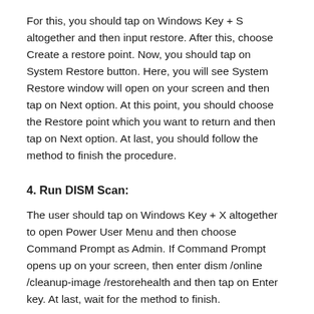For this, you should tap on Windows Key + S altogether and then input restore. After this, choose Create a restore point. Now, you should tap on System Restore button. Here, you will see System Restore window will open on your screen and then tap on Next option. At this point, you should choose the Restore point which you want to return and then tap on Next option. At last, you should follow the method to finish the procedure.
4. Run DISM Scan:
The user should tap on Windows Key + X altogether to open Power User Menu and then choose Command Prompt as Admin. If Command Prompt opens up on your screen, then enter dism /online /cleanup-image /restorehealth and then tap on Enter key. At last, wait for the method to finish.